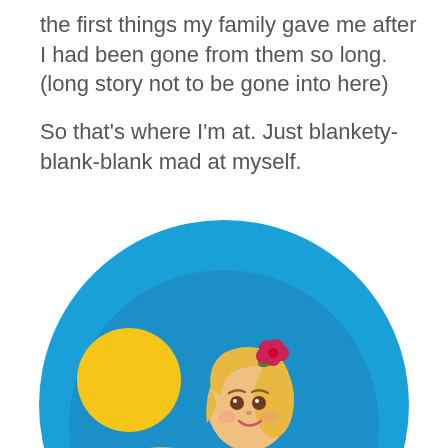the first things my family gave me after I had been gone from them so long. (long story not to be gone into here)

So that's where I'm at. Just blankety-blank-blank mad at myself.
[Figure (illustration): A cartoon illustration of a blonde girl in a hula outfit dancing, with a red hibiscus flower in her hair, inside a large blue circle with a yellow sun in the upper left]